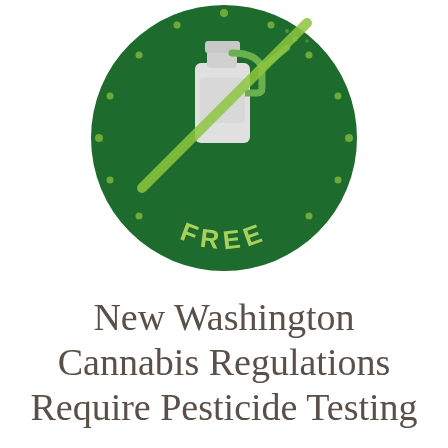[Figure (illustration): A circular green badge/icon with a spray bottle (pesticide sprayer) shown with a diagonal line through it (no pesticides symbol), surrounded by small light green dots, and the word FREE in light green capital letters along the bottom arc of the circle.]
New Washington Cannabis Regulations Require Pesticide Testing